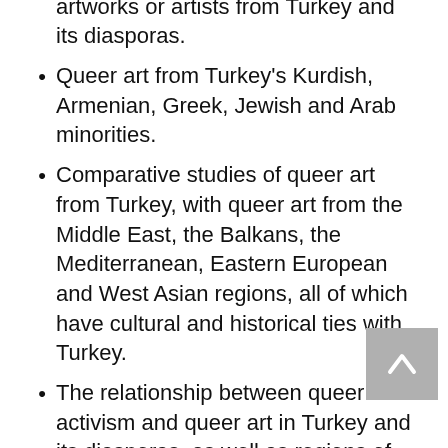case studies of specific queer artworks or artists from Turkey and its diasporas.
Queer art from Turkey's Kurdish, Armenian, Greek, Jewish and Arab minorities.
Comparative studies of queer art from Turkey, with queer art from the Middle East, the Balkans, the Mediterranean, Eastern European and West Asian regions, all of which have cultural and historical ties with Turkey.
The relationship between queer activism and queer art in Turkey and its diasporas, as well as regions of common culture and history like the Middle East, the Balkans, the Mediterranean, Eastern European and West Asian regions.
Decolonising Western canons in art practice, history and criticism, specifically in terms of queer art –